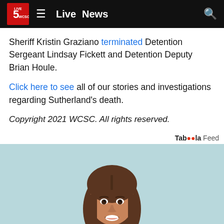Live 5 WCSC — Live  News
Sheriff Kristin Graziano terminated Detention Sergeant Lindsay Fickett and Detention Deputy Brian Houle.
Click here to see all of our stories and investigations regarding Sutherland's death.
Copyright 2021 WCSC. All rights reserved.
Taboola Feed
[Figure (photo): Young woman with long brown hair, smiling, wearing a light peach/tan top and black necklace, holding a blue card, against a light teal/blue background. Advertisement image from Taboola feed.]